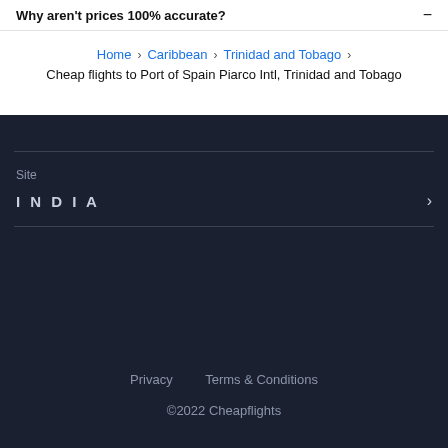Why aren't prices 100% accurate?
Home › Caribbean › Trinidad and Tobago
Cheap flights to Port of Spain Piarco Intl, Trinidad and Tobago
Site
INDIA
Privacy   Terms & Conditions   ©2022 Cheapflights